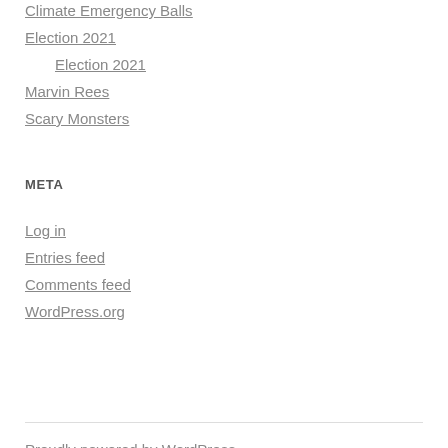Climate Emergency Balls
Election 2021
Election 2021
Marvin Rees
Scary Monsters
META
Log in
Entries feed
Comments feed
WordPress.org
Proudly powered by WordPress